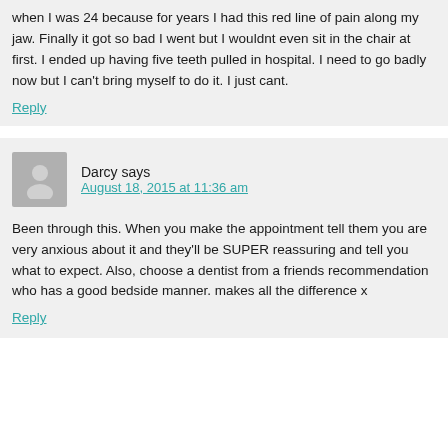when I was 24 because for years I had this red line of pain along my jaw. Finally it got so bad I went but I wouldnt even sit in the chair at first. I ended up having five teeth pulled in hospital. I need to go badly now but I can't bring myself to do it. I just cant.
Reply
Darcy says
August 18, 2015 at 11:36 am
Been through this. When you make the appointment tell them you are very anxious about it and they'll be SUPER reassuring and tell you what to expect. Also, choose a dentist from a friends recommendation who has a good bedside manner. makes all the difference x
Reply